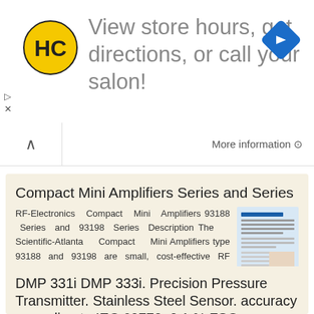[Figure (logo): HC logo - yellow circle with black HC letters, and navigation blue diamond icon on right. Ad banner: View store hours, get directions, or call your salon!]
More information →
Compact Mini Amplifiers Series and Series
RF-Electronics Compact Mini Amplifiers 93188 Series and 93198 Series Description The Scientific-Atlanta Compact Mini Amplifiers type 93188 and 93198 are small, cost-effective RF amplifiers that address
More information →
DMP 331i DMP 333i. Precision Pressure Transmitter. Stainless Steel Sensor. accuracy according to IEC 60770: 0.1 % FSO
DMP i DMP i Precision Pressure Transmitter